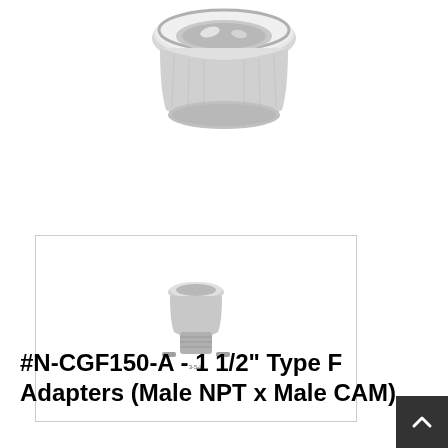[Figure (photo): Close-up photo of a metallic cam lock adapter fitting, silver/chrome finish, viewed from above, partially cropped at top of page.]
[Figure (photo): Thumbnail image of a small metallic Type F cam lock adapter (Male NPT x Male CAM) fitting, shown in a white bordered box.]
#N-CGF150-A - 1 1/2" Type F Adapters (Male NPT x Male CAM)